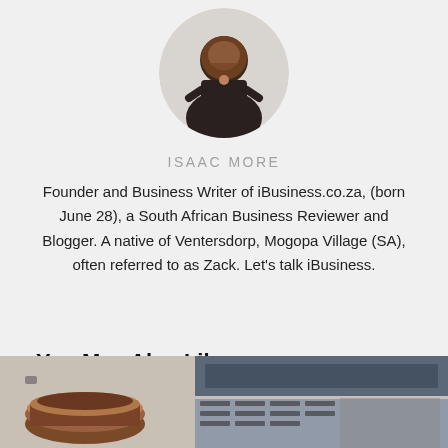[Figure (photo): Circular profile photo of Isaac More, a man in a dark t-shirt with arms crossed, smiling]
ISAAC MORE
Founder and Business Writer of iBusiness.co.za, (born June 28), a South African Business Reviewer and Blogger. A native of Ventersdorp, Mogopa Village (SA), often referred to as Zack. Let's talk iBusiness.
You May Also Like
[Figure (photo): Thumbnail images showing a coffee cup on the left and a laptop keyboard on the right]